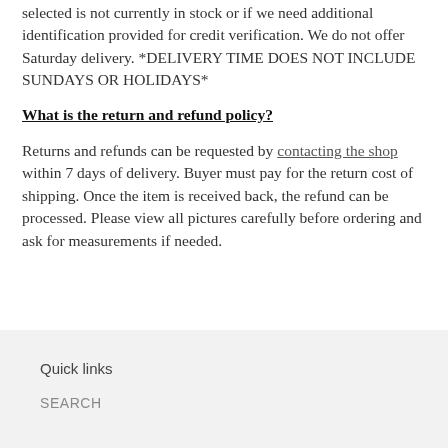selected is not currently in stock or if we need additional identification provided for credit verification. We do not offer Saturday delivery. *DELIVERY TIME DOES NOT INCLUDE SUNDAYS OR HOLIDAYS*
What is the return and refund policy?
Returns and refunds can be requested by contacting the shop within 7 days of delivery. Buyer must pay for the return cost of shipping. Once the item is received back, the refund can be processed. Please view all pictures carefully before ordering and ask for measurements if needed.
Quick links
SEARCH